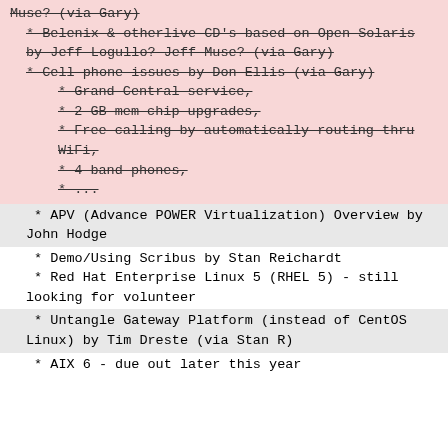Muse? (via Gary)
* Belenix & otherlive CD's based on Open Solaris by Jeff Logullo? Jeff Muse? (via Gary)
* Cell phone issues by Don Ellis (via Gary)
* Grand Central service,
* 2 GB mem chip upgrades,
* Free calling by automatically routing thru WiFi,
* 4 band phones,
* ...
* APV (Advance POWER Virtualization) Overview by John Hodge
* Demo/Using Scribus by Stan Reichardt
* Red Hat Enterprise Linux 5 (RHEL 5) - still looking for volunteer
* Untangle Gateway Platform (instead of CentOS Linux) by Tim Dreste (via Stan R)
* AIX 6 - due out later this year